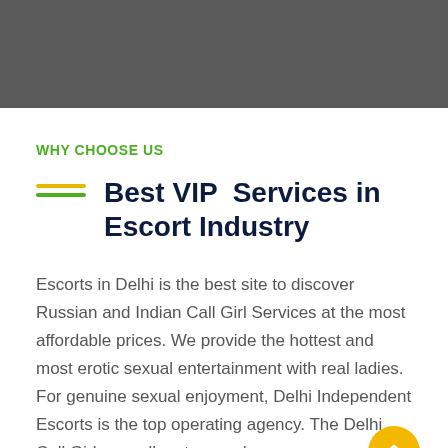WHY CHOOSE US
Best VIP Services in Escort Industry
Escorts in Delhi is the best site to discover Russian and Indian Call Girl Services at the most affordable prices. We provide the hottest and most erotic sexual entertainment with real ladies. For genuine sexual enjoyment, Delhi Independent Escorts is the top operating agency. The Delhi Call Girls are all mature and